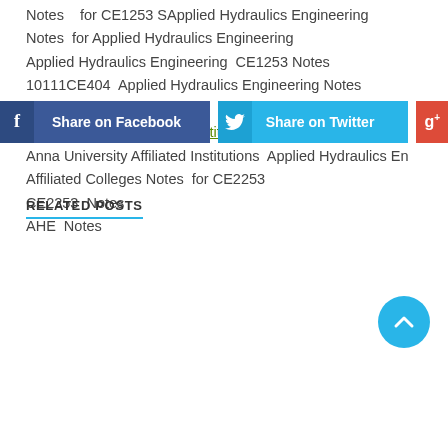Notes   for CE1253 SApplied Hydraulics Engineering
Notes  for Applied Hydraulics Engineering
Applied Hydraulics Engineering  CE1253 Notes
10111CE404  Applied Hydraulics Engineering Notes
Notes    for 080100019
Anna University Affiliated Institutions CE2253 Notes
Anna University Affiliated Institutions  Applied Hydraulics En
Affiliated Colleges Notes  for CE2253
CE2253  Notes
AHE  Notes
[Figure (other): Scroll-to-top circular button with chevron icon]
[Figure (other): Share on Facebook button (blue), Share on Twitter button (light blue), Google+ button (red)]
RELATED POSTS